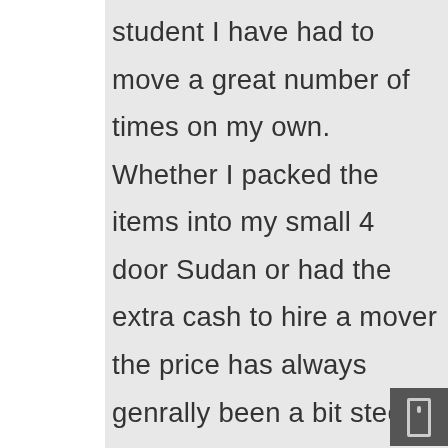student I have had to move a great number of times on my own. Whether I packed the items into my small 4 door Sudan or had the extra cash to hire a mover the price has always genrally been a bit steep when it comes to well known moving companies. If great quality and a reasonably priced service was something I felt a company truly valued I would